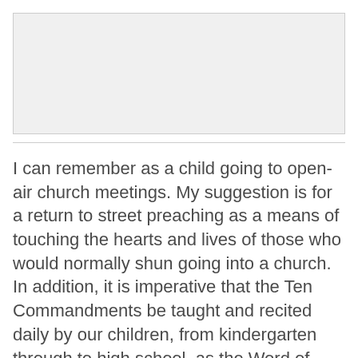[Figure (other): Light gray rectangular placeholder image area]
I can remember as a child going to open-air church meetings. My suggestion is for a return to street preaching as a means of touching the hearts and lives of those who would normally shun going into a church. In addition, it is imperative that the Ten Commandments be taught and recited daily by our children, from kindergarten through to high school, as the Word of God is living and powerful, sharp and piercing, and discerns